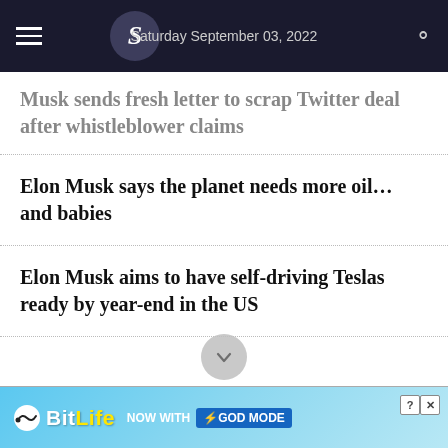Saturday September 03, 2022
Musk sends fresh letter to scrap Twitter deal after whistleblower claims
Elon Musk says the planet needs more oil… and babies
Elon Musk aims to have self-driving Teslas ready by year-end in the US
[Figure (screenshot): BitLife advertisement banner — NOW WITH GOD MODE]